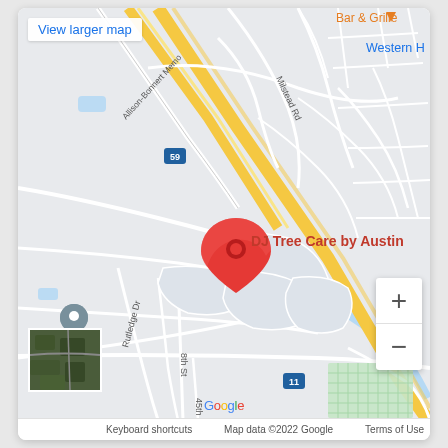[Figure (map): Google Maps showing location of DJ Tree Care by Austin, with roads including Allison-Bonnert Memorial, Milstead Rd, Rutledge Dr, Wilkes Rd, Cairo Ave, highway 59, highway 11, and nearby landmarks. Red map pin marks DJ Tree Care by Austin. Satellite thumbnail in bottom-left corner.]
View larger map
Bar & Grille
Western H
DJ Tree Care by Austin
Wilkes Rd
Cairo Ave
Rutledge Dr
Milstead Rd
Allison-Bonnert Memo
8th St
45th St
Keyboard shortcuts  Map data ©2022 Google  Terms of Use